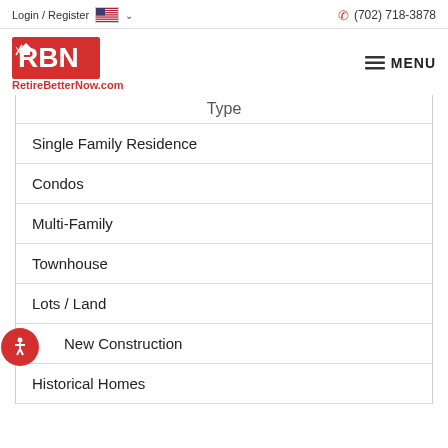Login / Register  (702) 718-3878
[Figure (logo): RetireBetterNow.com logo with RBN text in red and palm tree icon]
Type
Single Family Residence
Condos
Multi-Family
Townhouse
Lots / Land
New Construction
Historical Homes